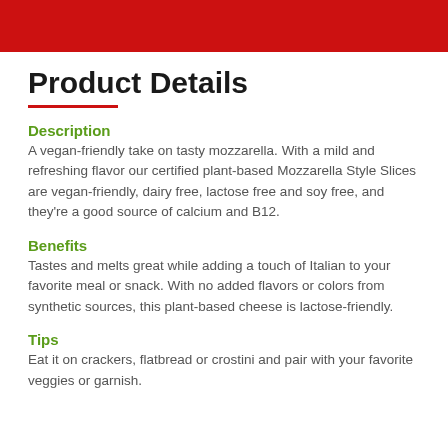[Figure (other): Red banner/header bar at top of page]
Product Details
Description
A vegan-friendly take on tasty mozzarella. With a mild and refreshing flavor our certified plant-based Mozzarella Style Slices are vegan-friendly, dairy free, lactose free and soy free, and they're a good source of calcium and B12.
Benefits
Tastes and melts great while adding a touch of Italian to your favorite meal or snack. With no added flavors or colors from synthetic sources, this plant-based cheese is lactose-friendly.
Tips
Eat it on crackers, flatbread or crostini and pair with your favorite veggies or garnish.